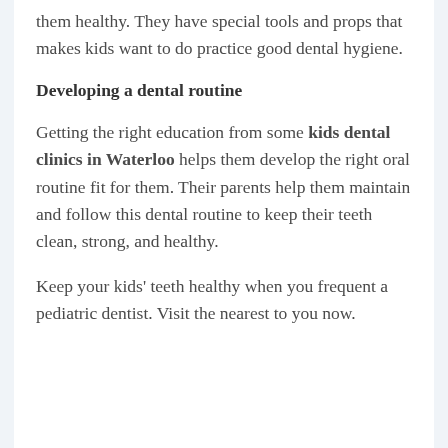them healthy. They have special tools and props that makes kids want to do practice good dental hygiene.
Developing a dental routine
Getting the right education from some kids dental clinics in Waterloo helps them develop the right oral routine fit for them. Their parents help them maintain and follow this dental routine to keep their teeth clean, strong, and healthy.
Keep your kids' teeth healthy when you frequent a pediatric dentist. Visit the nearest to you now.